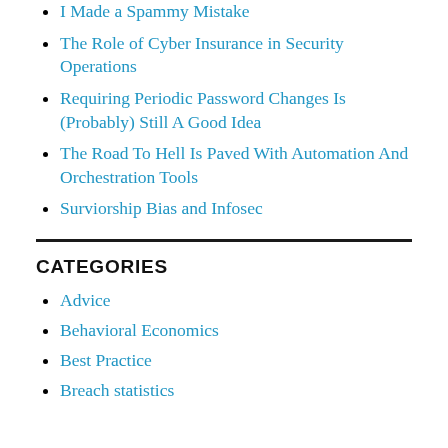I Made a Spammy Mistake
The Role of Cyber Insurance in Security Operations
Requiring Periodic Password Changes Is (Probably) Still A Good Idea
The Road To Hell Is Paved With Automation And Orchestration Tools
Surviorship Bias and Infosec
CATEGORIES
Advice
Behavioral Economics
Best Practice
Breach statistics